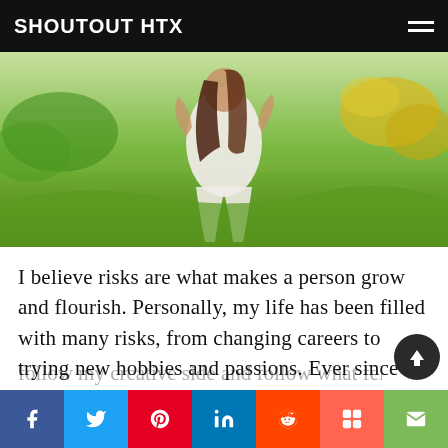SHOUTOUT HTX
[Figure (photo): Woman in white dress standing outdoors in a green field with yellow flowers, long brown hair, holding branches]
I believe risks are what makes a person grow and flourish. Personally, my life has been filled with many risks, from changing careers to trying new hobbies and passions. Ever since I was a little girl, I always wanted to be a dentist, but years passed by and I started to get close to the entertainment area, modeling and attending to events. Therefore, I realized that I should follow my creative side and follow what felt right. When I was in my second year of college I
f  t  P  in  reddit  mix  email